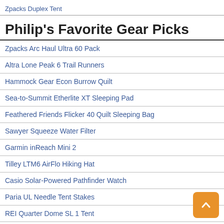Zpacks Duplex Tent
Philip's Favorite Gear Picks
Zpacks Arc Haul Ultra 60 Pack
Altra Lone Peak 6 Trail Runners
Hammock Gear Econ Burrow Quilt
Sea-to-Summit Etherlite XT Sleeping Pad
Feathered Friends Flicker 40 Quilt Sleeping Bag
Sawyer Squeeze Water Filter
Garmin inReach Mini 2
Tilley LTM6 AirFlo Hiking Hat
Casio Solar-Powered Pathfinder Watch
Paria UL Needle Tent Stakes
REI Quarter Dome SL 1 Tent